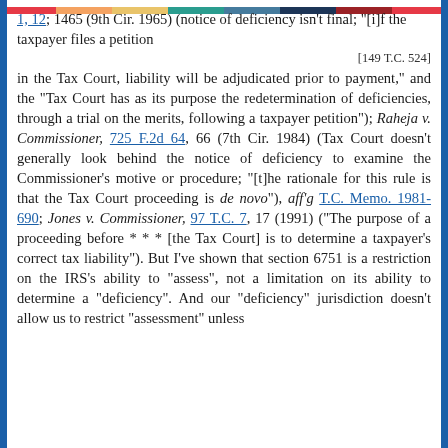1, 12; 1465 (9th Cir. 1965) (notice of deficiency isn't final; "[i]f the taxpayer files a petition
[149 T.C. 524]
in the Tax Court, liability will be adjudicated prior to payment," and the "Tax Court has as its purpose the redetermination of deficiencies, through a trial on the merits, following a taxpayer petition"); Raheja v. Commissioner, 725 F.2d 64, 66 (7th Cir. 1984) (Tax Court doesn't generally look behind the notice of deficiency to examine the Commissioner's motive or procedure; "[t]he rationale for this rule is that the Tax Court proceeding is de novo"), aff'g T.C. Memo. 1981-690; Jones v. Commissioner, 97 T.C. 7, 17 (1991) ("The purpose of a proceeding before * * * [the Tax Court] is to determine a taxpayer's correct tax liability"). But I've shown that section 6751 is a restriction on the IRS's ability to "assess", not a limitation on its ability to determine a "deficiency". And our "deficiency" jurisdiction doesn't allow us to restrict "assessment" unless